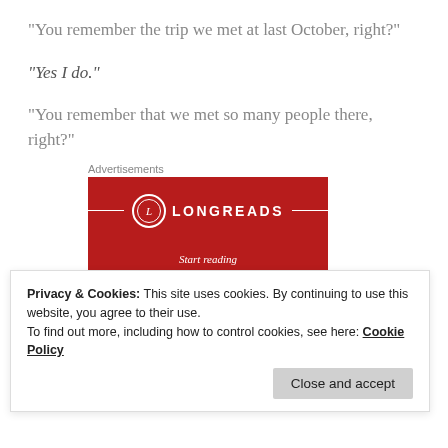“You remember the trip we met at last October, right?”
“Yes I do.”
“You remember that we met so many people there, right?”
Advertisements
[Figure (logo): Longreads red advertisement banner with circular L logo and decorative horizontal lines]
Privacy & Cookies: This site uses cookies. By continuing to use this website, you agree to their use.
To find out more, including how to control cookies, see here: Cookie Policy
Close and accept
[Figure (other): Bottom red banner with 'Start reading' text in italic]